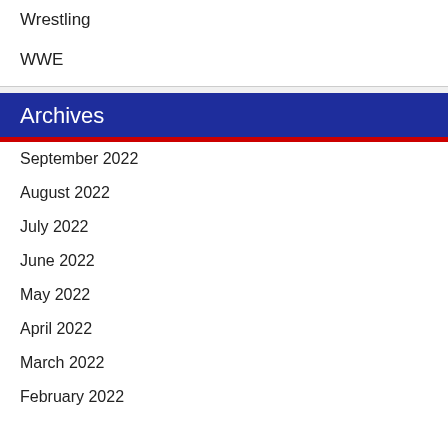Wrestling
WWE
Archives
September 2022
August 2022
July 2022
June 2022
May 2022
April 2022
March 2022
February 2022